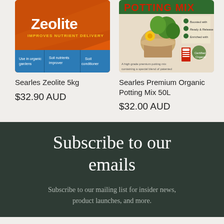[Figure (photo): Searles Zeolite 5kg bag - orange packaging with Zeolite branding and 'Improves Nutrient Delivery' text]
Searles Zeolite 5kg
$32.90 AUD
[Figure (photo): Searles Premium Organic Potting Mix 50L bag - brown/green packaging]
Searles Premium Organic Potting Mix 50L
$32.00 AUD
Subscribe to our emails
Subscribe to our mailing list for insider news, product launches, and more.